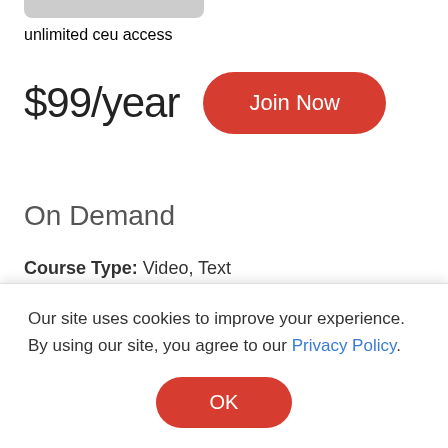unlimitED ceu access
$99/year  Join Now
On Demand
Course Type: Video, Text
CEUs/Hours Offered: AOTA/0.1 Intermediate, OT Service Delivery, 03594; CE Broker/1.0 General (FL), Patient Related (AL), General Continuing Education...
Our site uses cookies to improve your experience. By using our site, you agree to our Privacy Policy.